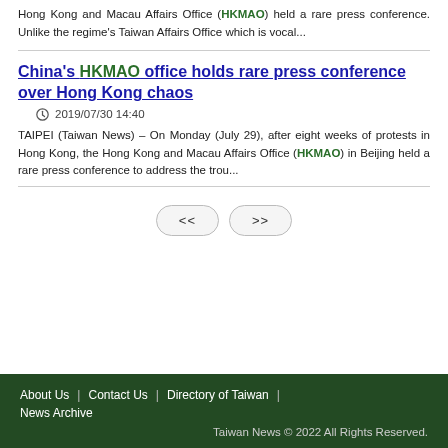Hong Kong and Macau Affairs Office (HKMAO) held a rare press conference. Unlike the regime's Taiwan Affairs Office which is vocal...
China's HKMAO office holds rare press conference over Hong Kong chaos
2019/07/30 14:40
TAIPEI (Taiwan News) – On Monday (July 29), after eight weeks of protests in Hong Kong, the Hong Kong and Macau Affairs Office (HKMAO) in Beijing held a rare press conference to address the trou...
About Us | Contact Us | Directory of Taiwan | News Archive
Taiwan News © 2022 All Rights Reserved.